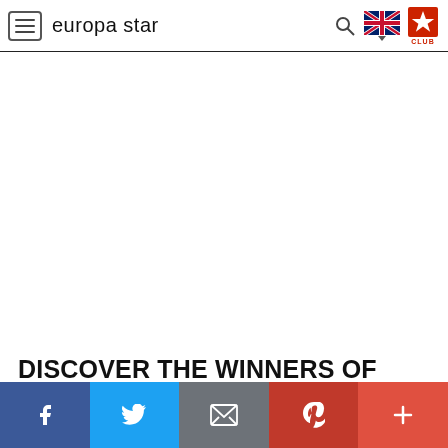europa star
[Figure (other): Large white/blank advertisement space in the center of the page]
DISCOVER THE WINNERS OF THE PRIX GAÏA 2022
AOÛT 2022
[Figure (infographic): Social sharing bar with Facebook, Twitter, Email, Pinterest, and More (+) buttons]